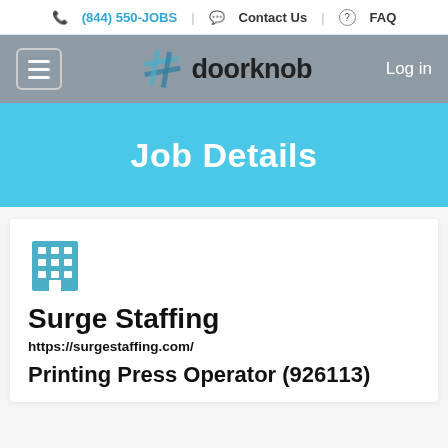(844) 550-JOBS | Contact Us | FAQ
[Figure (logo): Doorknob job board logo with hashtag icon and text 'doorknob']
Job Details
[Figure (illustration): Blue building/office icon]
Surge Staffing
https://surgestaffing.com/
Printing Press Operator (926113)